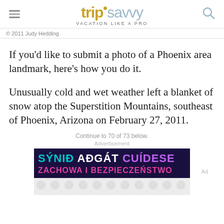tripsavvy VACATION LIKE A PRO
© 2011 Judy Hedding
If you'd like to submit a photo of a Phoenix area landmark, here's how you do it.
Unusually cold and wet weather left a blanket of snow atop the Superstition Mountains, southeast of Phoenix, Arizona on February 27, 2011.
Continue to 70 of 73 below.
Advertisement
[Figure (other): Advertisement banner with text 'SÝNIÐ AÐGÁT CUÍDESE' and 'ZACHOWA I BEZPIECZEŃSTWO' on dark background, with decorative circles section below]